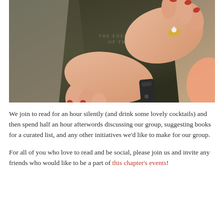[Figure (photo): Close-up photo of a woman's hands with red nail polish and a decorative ring holding open an old dark-covered book. The book cover shows partial text 'THE ENEM... OF THE...' Text is partially hidden by the hands.]
We join to read for an hour silently (and drink some lovely cocktails) and then spend half an hour afterwords discussing our group, suggesting books for a curated list, and any other initiatives we'd like to make for our group.
For all of you who love to read and be social, please join us and invite any friends who would like to be a part of this chapter's events!